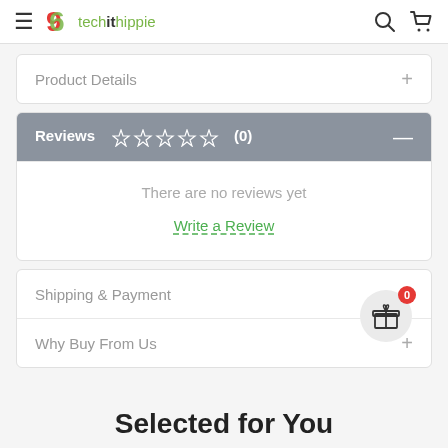9techithippie — navigation bar with hamburger menu, logo, search and cart icons
Product Details
Reviews ☆☆☆☆☆ (0)
There are no reviews yet
Write a Review
Shipping & Payment
Why Buy From Us
Selected for You